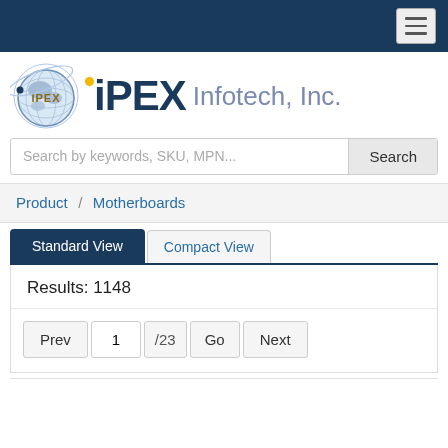iPEX Infotech, Inc. — navigation bar with hamburger menu
[Figure (logo): iPEX Infotech, Inc. logo with globe graphic and stylized iPEX text]
Search by keywords, SKU, MPN... Search
Product / Motherboards
Standard View  Compact View
Results: 1148
Prev  1  /23  Go  Next